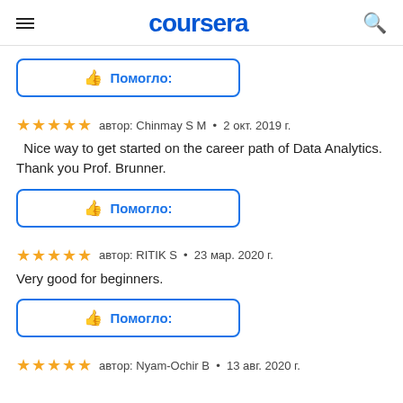coursera
[Figure (screenshot): Thumbs up button with label Помогло: (partial, top of page)]
автор: Chinmay S M · 2 окт. 2019 г.
Nice way to get started on the career path of Data Analytics. Thank you Prof. Brunner.
[Figure (screenshot): Thumbs up button with label Помогло:]
автор: RITIK S · 23 мар. 2020 г.
Very good for beginners.
[Figure (screenshot): Thumbs up button with label Помогло:]
автор: Nyam-Ochir B · 13 авг. 2020 г.